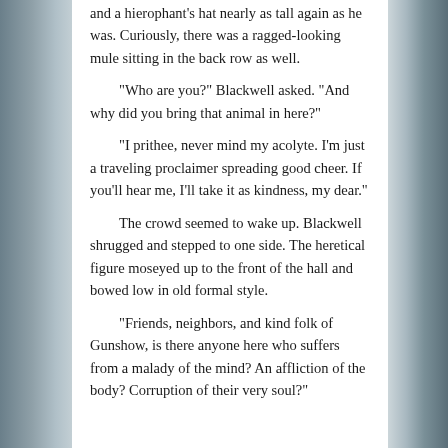and a hierophant's hat nearly as tall again as he was. Curiously, there was a ragged-looking mule sitting in the back row as well.

"Who are you?" Blackwell asked. "And why did you bring that animal in here?"

"I prithee, never mind my acolyte. I'm just a traveling proclaimer spreading good cheer. If you'll hear me, I'll take it as kindness, my dear."

The crowd seemed to wake up. Blackwell shrugged and stepped to one side. The heretical figure moseyed up to the front of the hall and bowed low in old formal style.

"Friends, neighbors, and kind folk of Gunshow, is there anyone here who suffers from a malady of the mind? An affliction of the body? Corruption of their very soul?"